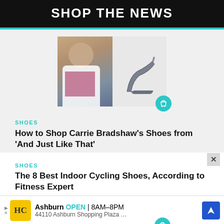SHOP THE NEWS
[Figure (photo): Photo collage: woman with long hair wearing white blouse on the left, a high-heel shoe on the right, with a teal shopping bag icon overlay]
SHOES
How to Shop Carrie Bradshaw's Shoes from 'And Just Like That'
[Figure (photo): Photo of teal/cyan indoor cycling shoe on white background with teal shopping bag icon overlay]
SHOES
The 8 Best Indoor Cycling Shoes, According to Fitness Expert
[Figure (other): Advertisement: HC logo, Ashburn OPEN 8AM-8PM, 44110 Ashburn Shopping Plaza ..., navigation arrow icon]